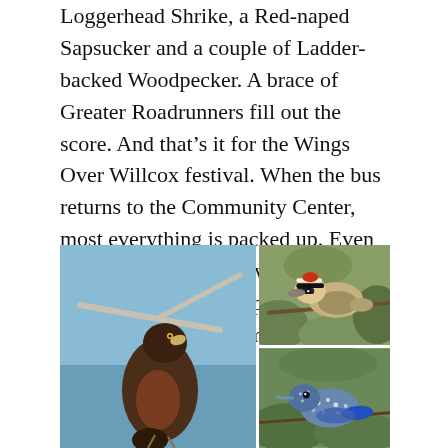Loggerhead Shrike, a Red-naped Sapsucker and a couple of Ladder-backed Woodpecker. A brace of Greater Roadrunners fill out the score. And that's it for the Wings Over Willcox festival. When the bus returns to the Community Center, most everything is packed up. Even the Kettle Corn seller who accosted every passerby has departed the scene. I return to my motel room. I'm ready to move on.
[Figure (photo): Three bird photos arranged in a grid: a large photo on the left showing a dark reddish-brown bird perched on a bare branch against a blue sky; top-right photo showing a small bird with striped head markings against green foliage; bottom-right photo showing a blue-grey spotted bird.]